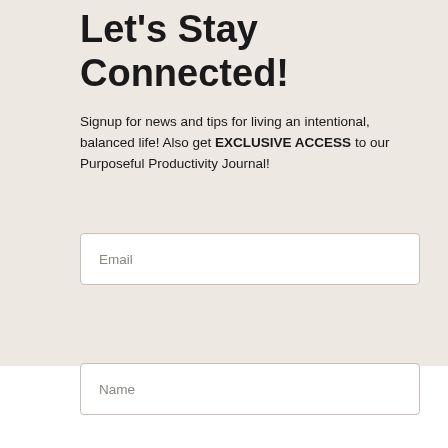Let's Stay Connected!
Signup for news and tips for living an intentional, balanced life! Also get EXCLUSIVE ACCESS to our Purposeful Productivity Journal!
[Figure (screenshot): Email input field with placeholder text 'Email']
[Figure (screenshot): Name input field with placeholder text 'Name']